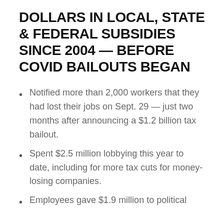DOLLARS IN LOCAL, STATE & FEDERAL SUBSIDIES SINCE 2004 — BEFORE COVID BAILOUTS BEGAN
Notified more than 2,000 workers that they had lost their jobs on Sept. 29 — just two months after announcing a $1.2 billion tax bailout.
Spent $2.5 million lobbying this year to date, including for more tax cuts for money-losing companies.
Employees gave $1.9 million to political